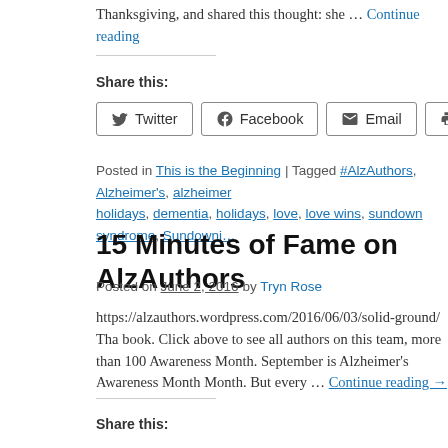Thanksgiving, and shared this thought: she … Continue reading
Share this:
Twitter  Facebook  Email  Print
Posted in This is the Beginning | Tagged #AlzAuthors, Alzheimer's, alzheimer holidays, dementia, holidays, love, love wins, sundown syndrome, Sundowni…
15 Minutes of Fame on AlzAuthors
Posted on June 2, 2016 by Tryn Rose
https://alzauthors.wordpress.com/2016/06/03/solid-ground/ Tha book. Click above to see all authors on this team, more than 100 Awareness Month. September is Alzheimer's Awareness Month Month. But every … Continue reading →
Share this: